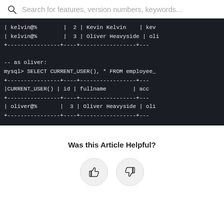Search for features, version numbers, keywords...
[Figure (screenshot): Dark terminal/code block showing MySQL query output with rows for kelvin@%, oliver@%, and a SELECT CURRENT_USER() query result.]
Was this Article Helpful?